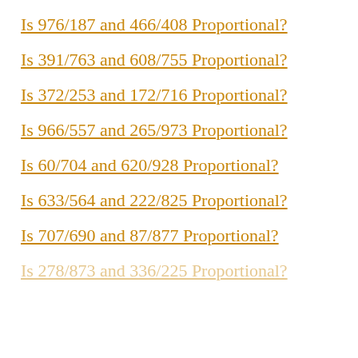Is 976/187 and 466/408 Proportional?
Is 391/763 and 608/755 Proportional?
Is 372/253 and 172/716 Proportional?
Is 966/557 and 265/973 Proportional?
Is 60/704 and 620/928 Proportional?
Is 633/564 and 222/825 Proportional?
Is 707/690 and 87/877 Proportional?
Is 278/873 and 336/225 Proportional?